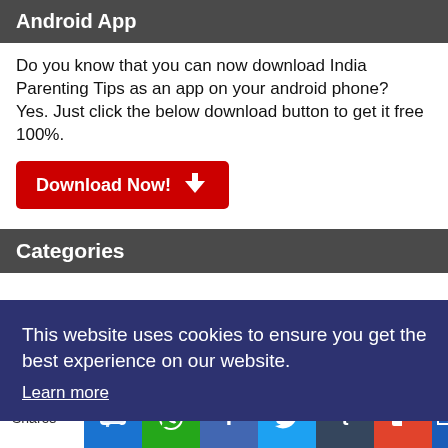Android App
Do you know that you can now download India Parenting Tips as an app on your android phone?
Yes. Just click the below download button to get it free 100%.
[Figure (other): Red Download Now button with down arrow icon]
Categories
This website uses cookies to ensure you get the best experience on our website.
Learn more
Shares | SMS | WhatsApp | Facebook | Twitter | Tumblr | Flipboard | Email